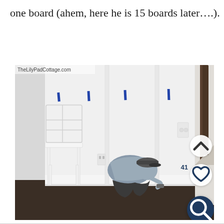one board (ahem, here he is 15 boards later....).
[Figure (photo): A man in a gray shirt and cap crouching down near the base of a staircase, working on installing white board-and-batten wall paneling. A white chair is visible on the left. Blue tape marks appear on the wall indicating board placement positions. A light switch plate is visible. The website watermark 'TheLilyPadCottage.com' appears in the upper left of the photo. Overlay UI buttons (up chevron, heart, search/magnifier) appear on the right side.]